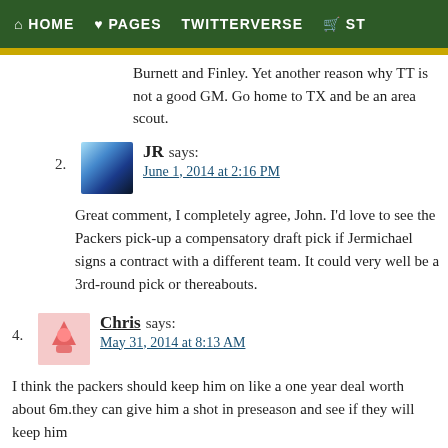HOME   PAGES   TWITTERVERSE   ST
Burnett and Finley. Yet another reason why TT is not a good GM. Go home to TX and be an area scout.
2. JR says:
June 1, 2014 at 2:16 PM

Great comment, I completely agree, John. I'd love to see the Packers pick-up a compensatory draft pick if Jermichael signs a contract with a different team. It could very well be a 3rd-round pick or thereabouts.
4. Chris says:
May 31, 2014 at 8:13 AM

I think the packers should keep him on like a one year deal worth about 6m.they can give him a shot in preseason and see if they will keep him